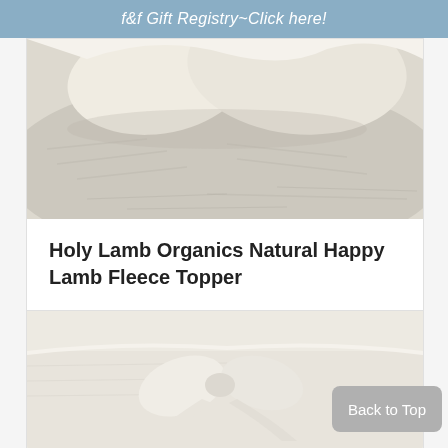f&f Gift Registry~Click here!
[Figure (photo): A natural cream/beige fleece topper folded loosely, showing texture and folds, photographed from above on a light background.]
Holy Lamb Organics Natural Happy Lamb Fleece Topper
$89.00
[Figure (photo): A cream/ivory fabric item with bow ties, partially visible, folded neatly.]